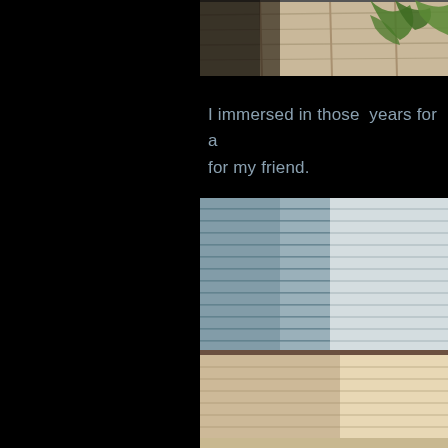[Figure (photo): Top portion of a photo showing wooden planks fence/background with green plant leaves visible, cropped at top of page]
I immersed in those  years for a
for my friend.
[Figure (photo): Photo of a building exterior with horizontal siding boards showing blue/white painted clapboard siding with tree shadows cast across it, bottom portion visible at bottom of page]